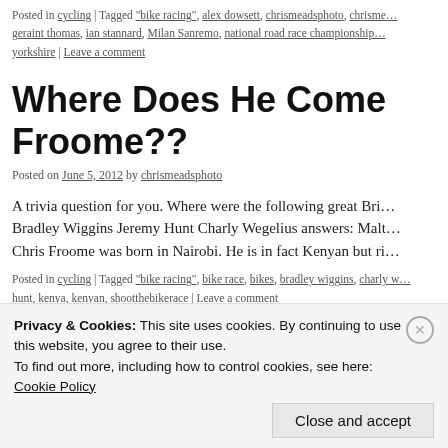Posted in cycling | Tagged "bike racing", alex dowsett, chrismeadsphoto, chrisme… geraint thomas, ian stannard, Milan Sanremo, national road race championship… yorkshire | Leave a comment
Where Does He Come Froome??
Posted on June 5, 2012 by chrismeadsphoto
A trivia question for you. Where were the following great Bri… Bradley Wiggins Jeremy Hunt Charly Wegelius answers: Malt… Chris Froome was born in Nairobi. He is in fact Kenyan but ri…
Posted in cycling | Tagged "bike racing", bike race, bikes, bradley wiggins, charly w… hunt, kenya, kenyan, shootthebikerace | Leave a comment
Privacy & Cookies: This site uses cookies. By continuing to use this website, you agree to their use. To find out more, including how to control cookies, see here: Cookie Policy  [Close and accept]